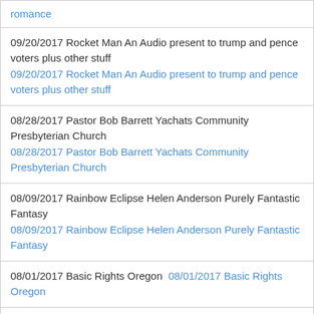| romance [link] |
| 09/20/2017 Rocket Man An Audio present to trump and pence voters plus other stuff
09/20/2017 Rocket Man An Audio present to trump and pence voters plus other stuff [link] |
| 08/28/2017 Pastor Bob Barrett Yachats Community Presbyterian Church
08/28/2017 Pastor Bob Barrett Yachats Community Presbyterian Church [link] |
| 08/09/2017 Rainbow Eclipse Helen Anderson Purely Fantastic Fantasy
08/09/2017 Rainbow Eclipse Helen Anderson Purely Fantastic Fantasy [link] |
| 08/01/2017 Basic Rights Oregon  08/01/2017 Basic Rights Oregon [link] |
| 08/01/2017 Kaiya Kramer interviews Rhonda on www.thequeerlive.org most excellently |